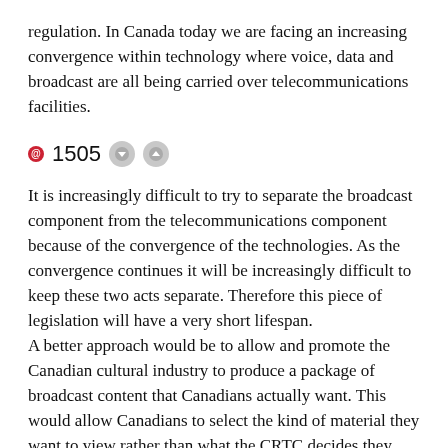regulation. In Canada today we are facing an increasing convergence within technology where voice, data and broadcast are all being carried over telecommunications facilities.
1505
It is increasingly difficult to try to separate the broadcast component from the telecommunications component because of the convergence of the technologies. As the convergence continues it will be increasingly difficult to keep these two acts separate. Therefore this piece of legislation will have a very short lifespan.
A better approach would be to allow and promote the Canadian cultural industry to produce a package of broadcast content that Canadians actually want. This would allow Canadians to select the kind of material they want to view rather than what the CRTC decides they need to see.
In this way we would be able to reduce the requirement of the Broadcast Act to control content. Then the Broadcast Act and the Telecommunications Act could be combined so that we